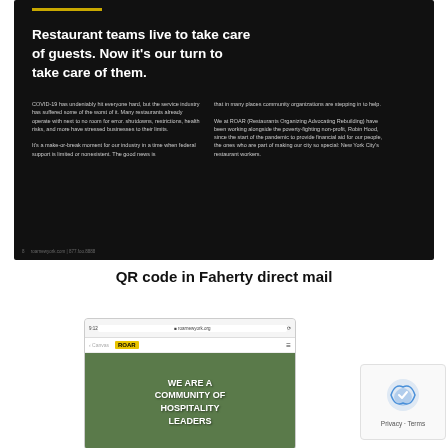[Figure (screenshot): Dark-background direct mail piece with gold bar, bold white headline 'Restaurant teams live to take care of guests. Now it's our turn to take care of them.' and two columns of smaller body text about COVID-19 and ROAR organization.]
QR code in Faherty direct mail
[Figure (screenshot): Mobile phone screenshot showing the ROAR website (roarnewyork.org) with yellow ROAR logo and a hero image with text 'WE ARE A COMMUNITY OF HOSPITALITY LEADERS']
[Figure (logo): reCAPTCHA privacy badge with Privacy and Terms links]